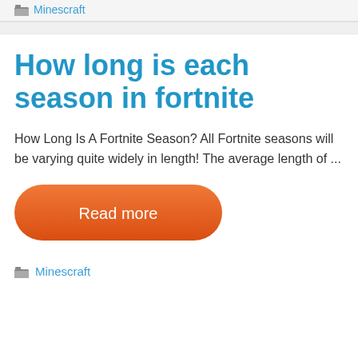Minescraft
How long is each season in fortnite
How Long Is A Fortnite Season? All Fortnite seasons will be varying quite widely in length! The average length of ...
[Figure (other): Orange rounded Read more button]
Minescraft